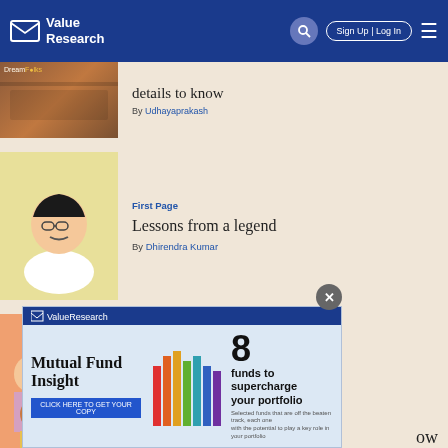Value Research - Sign Up | Log In
details to know
By Udhayaprakash
First Page
Lessons from a legend
By Dhirendra Kumar
How I Did It
Savings, SIPs, and stocks
By Sneha Suri
[Figure (advertisement): Value Research Mutual Fund Insight ad - 8 funds to supercharge your portfolio. Click here to get your copy.]